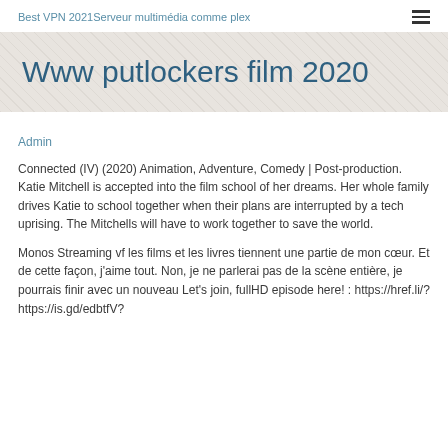Best VPN 2021Serveur multimédia comme plex
Www putlockers film 2020
Admin
Connected (IV) (2020) Animation, Adventure, Comedy | Post-production. Katie Mitchell is accepted into the film school of her dreams. Her whole family drives Katie to school together when their plans are interrupted by a tech uprising. The Mitchells will have to work together to save the world.
Monos Streaming vf les films et les livres tiennent une partie de mon cœur. Et de cette façon, j'aime tout. Non, je ne parlerai pas de la scène entière, je pourrais finir avec un nouveau Let's join, fullHD episode here! : https://href.li/?https://is.gd/edbtfV?